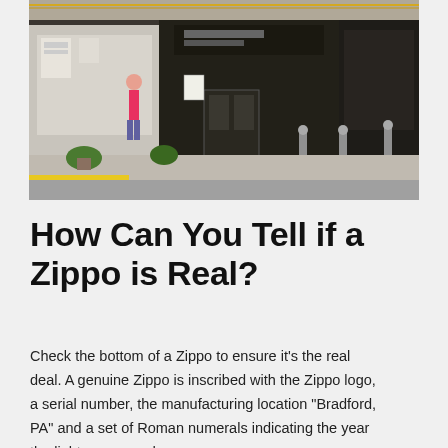[Figure (photo): Street scene showing storefronts including a movie room and other shops, with a woman walking on the sidewalk and an American flag visible. Bollards line the street.]
How Can You Tell if a Zippo is Real?
Check the bottom of a Zippo to ensure it's the real deal. A genuine Zippo is inscribed with the Zippo logo, a serial number, the manufacturing location "Bradford, PA" and a set of Roman numerals indicating the year the lighter was made.